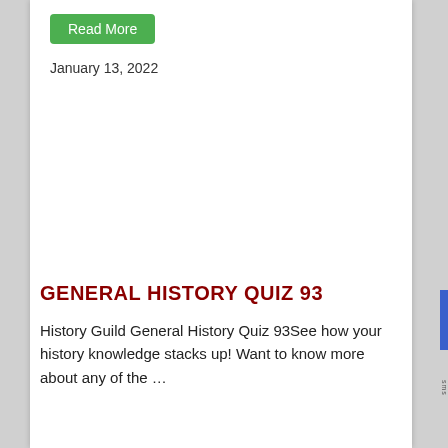Read More
January 13, 2022
GENERAL HISTORY QUIZ 93
History Guild General History Quiz 93See how your history knowledge stacks up! Want to know more about any of the …